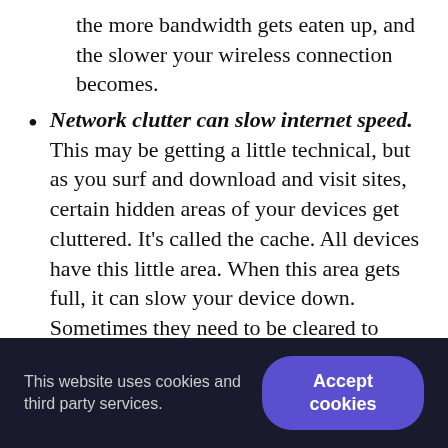the more bandwidth gets eaten up, and the slower your wireless connection becomes.
Network clutter can slow internet speed. This may be getting a little technical, but as you surf and download and visit sites, certain hidden areas of your devices get cluttered. It’s called the cache. All devices have this little area. When this area gets full, it can slow your device down. Sometimes they need to be cleared to help with internet connection speed. The server can get cluttered as well—this can happen on the internet service provider end.
Other factors with Wi-Fi: Power outages, network
This website uses cookies and third party services.